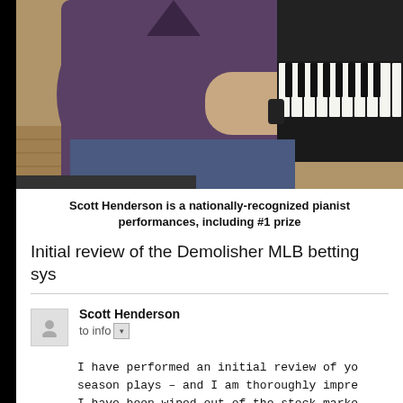[Figure (photo): Photo of a person in a dark purple/maroon shirt playing piano, showing their torso and hands on piano keys]
Scott Henderson is a nationally-recognized pianist performances, including #1 prize
Initial review of the Demolisher MLB betting sys
Scott Henderson
to info
I have performed an initial review of yo season plays – and I am thoroughly impre I have been wiped out of the stock marke – this system is definitely it! The win management strategy, it should eliminate